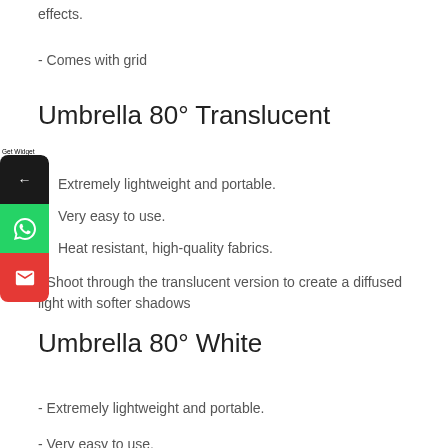effects.
- Comes with grid
Umbrella 80° Translucent
Extremely lightweight and portable.
Very easy to use.
Heat resistant, high-quality fabrics.
- Shoot through the translucent version to create a diffused light with softer shadows
Umbrella 80° White
- Extremely lightweight and portable.
- Very easy to use.